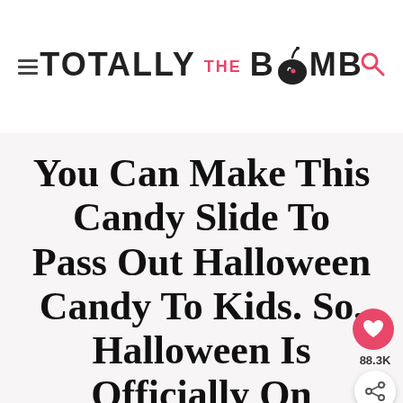Totally The Bomb
You Can Make This Candy Slide To Pass Out Halloween Candy To Kids. So, Halloween Is Officially On
15 Comments